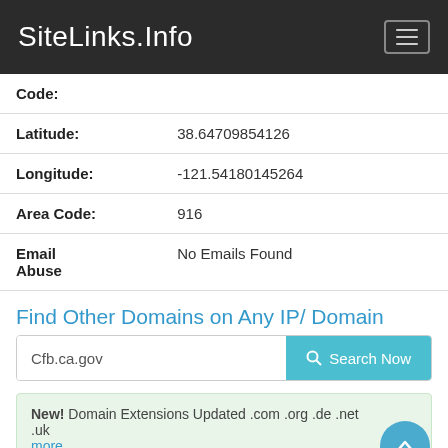SiteLinks.Info
| Code: |  |
| Latitude: | 38.64709854126 |
| Longitude: | -121.54180145264 |
| Area Code: | 916 |
| Email Abuse | No Emails Found |
Find Other Domains on Any IP/ Domain
Cfb.ca.gov [Search Now]
New! Domain Extensions Updated .com .org .de .net .uk more ...